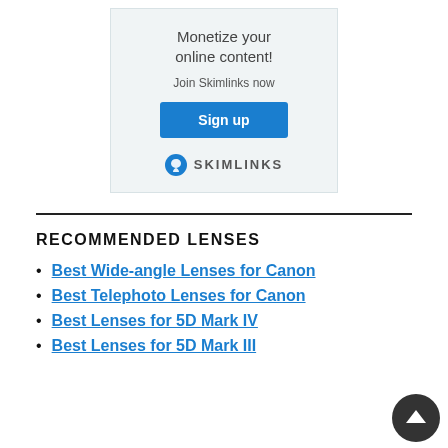[Figure (infographic): Skimlinks advertisement banner with light blue-grey background. Text reads 'Monetize your online content! Join Skimlinks now' with a blue 'Sign up' button and the Skimlinks logo at the bottom.]
RECOMMENDED LENSES
Best Wide-angle Lenses for Canon
Best Telephoto Lenses for Canon
Best Lenses for 5D Mark IV
Best Lenses for 5D Mark III